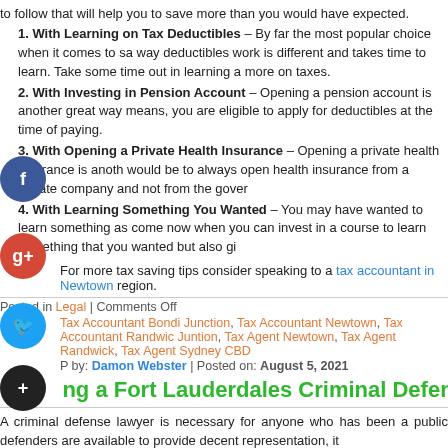to follow that will help you to save more than you would have expected.
1. With Learning on Tax Deductibles – By far the most popular choice when it comes to sa... way deductibles work is different and takes time to learn. Take some time out in learning a... more on taxes.
2. With Investing in Pension Account – Opening a pension account is another great way... means, you are eligible to apply for deductibles at the time of paying.
3. With Opening a Private Health Insurance – Opening a private health insurance is anoth... would be to always open health insurance from a private company and not from the gover...
4. With Learning Something You Wanted – You may have wanted to learn something as... come now when you can invest in a course to learn something that you wanted but also gi...
For more tax saving tips consider speaking to a tax accountant in Newtown region.
Posted in Legal | Comments Off
Tax Accountant Bondi Junction, Tax Accountant Newtown, Tax Accountant Randwic... Junction, Tax Agent Newtown, Tax Agent Randwick, Tax Agent Sydney CBD
Posted by: Damon Webster | Posted on: August 5, 2021
Hiring a Fort Lauderdales Criminal Defense Lawyer
A criminal defense lawyer is necessary for anyone who has been a... public defenders are available to provide decent representation, it...